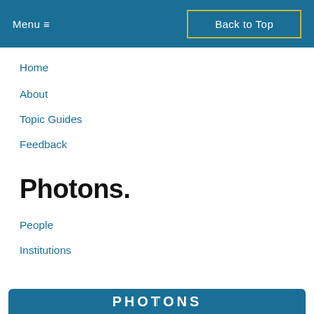Menu ≡   Back to Top
Home
About
Topic Guides
Feedback
Photons.
People
Institutions
PHOTONS